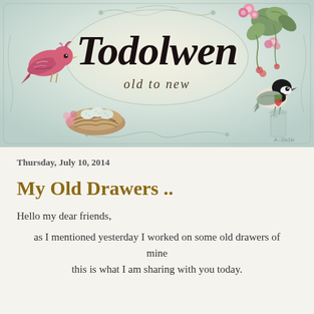[Figure (illustration): Decorative blog banner for 'Todolwen old to new' featuring a vintage/shabby chic design with a pink bird on the left, a bird's nest with eggs in the center-left, pink flowers and ivy in the upper right, a small chickadee bird on the right, and a decorative oval frame with scroll ornaments, all on a soft sage green and cream background.]
Thursday, July 10, 2014
My Old Drawers ..
Hello my dear friends,
as I mentioned yesterday I worked on some old drawers of mine this is what I am sharing with you today.